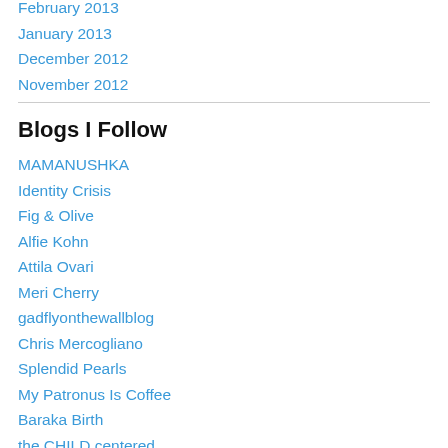February 2013
January 2013
December 2012
November 2012
Blogs I Follow
MAMANUSHKA
Identity Crisis
Fig & Olive
Alfie Kohn
Attila Ovari
Meri Cherry
gadflyonthewallblog
Chris Mercogliano
Splendid Pearls
My Patronus Is Coffee
Baraka Birth
the CHILD centered